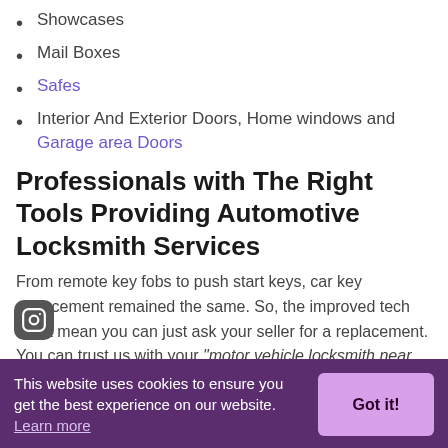Showcases
Mail Boxes
Safes
Interior And Exterior Doors, Home windows and Garage area Doors
Professionals with The Right Tools Providing Automotive Locksmith Services
From remote key fobs to push start keys, car key replacement remained the same. So, the improved tech won't mean you can just ask your seller for a replacement. You can trust us with your “motor vehicle locksmith near me in San Marcos, TX” search. Our professionals have the right equipment to replicate or replace your car keys. Furthermore to professionalism,
This website uses cookies to ensure you get the best experience on our website. Learn more